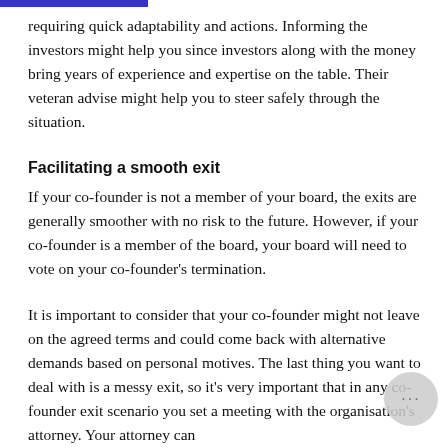requiring quick adaptability and actions. Informing the investors might help you since investors along with the money bring years of experience and expertise on the table. Their veteran advise might help you to steer safely through the situation.
Facilitating a smooth exit
If your co-founder is not a member of your board, the exits are generally smoother with no risk to the future. However, if your co-founder is a member of the board, your board will need to vote on your co-founder's termination.
It is important to consider that your co-founder might not leave on the agreed terms and could come back with alternative demands based on personal motives. The last thing you want to deal with is a messy exit, so it's very important that in any co-founder exit scenario you set a meeting with the organisation's attorney. Your attorney can